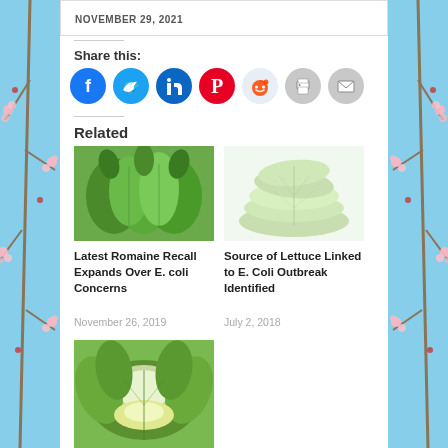NOVEMBER 29, 2021
Share this:
[Figure (infographic): Social share icons: Facebook (blue), Twitter (blue), LinkedIn (dark blue), Pinterest (red), Reddit (light blue), Print (grey), Email (grey)]
Related
[Figure (photo): Photo of green leafy romaine lettuce heads]
Latest Romaine Recall Expands Over E. coli Concerns
November 26, 2019
[Figure (photo): Photo of pale green romaine lettuce heads stacked]
Source of Lettuce Linked to E. Coli Outbreak Identified
July 2, 2018
[Figure (photo): Photo of romaine lettuce cut open showing inner leaves]